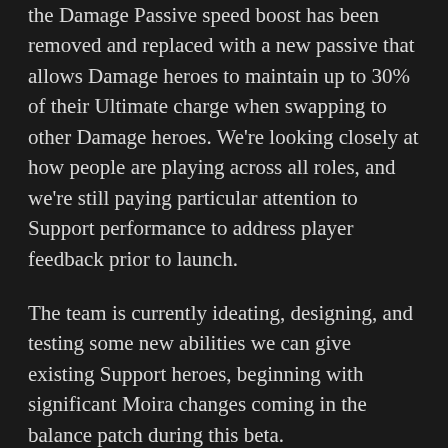the Damage Passive speed boost has been removed and replaced with a new passive that allows Damage heroes to maintain up to 30% of their Ultimate charge when swapping to other Damage heroes. We're looking closely at how people are playing across all roles, and we're still paying particular attention to Support performance to address player feedback prior to launch.
The team is currently ideating, designing, and testing some new abilities we can give existing Support heroes, beginning with significant Moira changes coming in the balance patch during this beta.
Push has also been the subject of some changes over the past few weeks; after reviewing player feedback, we've decided to add two minutes to the timebank. This will extend the game from eight minutes to ten